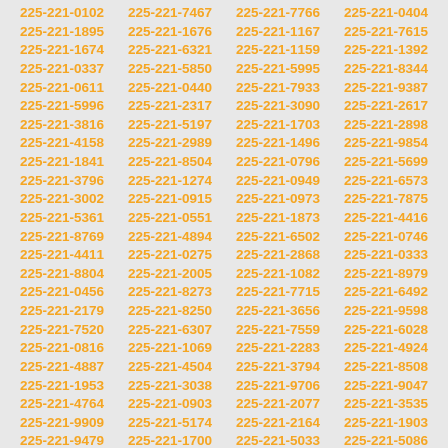| 225-221-0102 | 225-221-7467 | 225-221-7766 | 225-221-0404 |
| 225-221-1895 | 225-221-1676 | 225-221-1167 | 225-221-7615 |
| 225-221-1674 | 225-221-6321 | 225-221-1159 | 225-221-1392 |
| 225-221-0337 | 225-221-5850 | 225-221-5995 | 225-221-8344 |
| 225-221-0611 | 225-221-0440 | 225-221-7933 | 225-221-9387 |
| 225-221-5996 | 225-221-2317 | 225-221-3090 | 225-221-2617 |
| 225-221-3816 | 225-221-5197 | 225-221-1703 | 225-221-2898 |
| 225-221-4158 | 225-221-2989 | 225-221-1496 | 225-221-9854 |
| 225-221-1841 | 225-221-8504 | 225-221-0796 | 225-221-5699 |
| 225-221-3796 | 225-221-1274 | 225-221-0949 | 225-221-6573 |
| 225-221-3002 | 225-221-0915 | 225-221-0973 | 225-221-7875 |
| 225-221-5361 | 225-221-0551 | 225-221-1873 | 225-221-4416 |
| 225-221-8769 | 225-221-4894 | 225-221-6502 | 225-221-0746 |
| 225-221-4411 | 225-221-0275 | 225-221-2868 | 225-221-0333 |
| 225-221-8804 | 225-221-2005 | 225-221-1082 | 225-221-8979 |
| 225-221-0456 | 225-221-8273 | 225-221-7715 | 225-221-6492 |
| 225-221-2179 | 225-221-8250 | 225-221-3656 | 225-221-9598 |
| 225-221-7520 | 225-221-6307 | 225-221-7559 | 225-221-6028 |
| 225-221-0816 | 225-221-1069 | 225-221-2283 | 225-221-4924 |
| 225-221-4887 | 225-221-4504 | 225-221-3794 | 225-221-8508 |
| 225-221-1953 | 225-221-3038 | 225-221-9706 | 225-221-9047 |
| 225-221-4764 | 225-221-0903 | 225-221-2077 | 225-221-3535 |
| 225-221-9909 | 225-221-5174 | 225-221-2164 | 225-221-1903 |
| 225-221-9479 | 225-221-1700 | 225-221-5033 | 225-221-5086 |
| 225-221-7306 | 225-221-3964 | 225-221-3433 | 225-221-6346 |
| 225-221-1638 | 225-221-6679 | 225-221-2792 | 225-221-6349 |
| 225-221-2992 | 225-221-4659 | 225-221-5178 | 225-221-7161 |
| 225-221-1184 | 225-221-6618 | 225-221-8526 | 225-221-8429 |
| 225-221-4219 | 225-221-5293 | 225-221-1160 | 225-221-3550 |
| 225-221-4664 | 225-221-9921 | 225-221-4313 | 225-221-0842 |
| 225-221-2760 | 225-221-0462 | 225-221-2498 | 225-221-5303 |